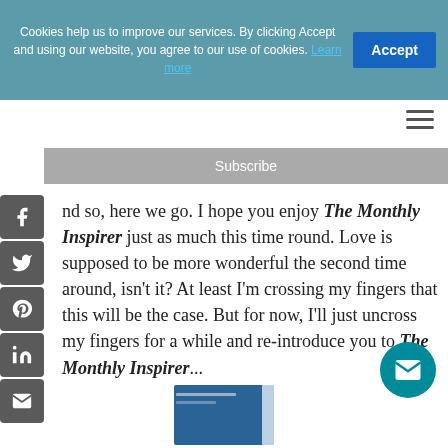Cookies help us to improve our services. By clicking Accept and using our website, you agree to our use of cookies. Learn more
[Figure (screenshot): Accept button (blue rectangle) for cookie consent]
[Figure (other): Hamburger menu icon (three horizontal lines)]
Subscribe
[Figure (other): Social media sidebar icons: Facebook, Twitter, Pinterest, LinkedIn, Email]
nd so, here we go. I hope you enjoy The Monthly Inspirer just as much this time round. Love is supposed to be more wonderful the second time around, isn't it? At least I'm crossing my fingers that this will be the case. But for now, I'll just uncross my fingers for a while and re-introduce you to The Monthly Inspirer...
[Figure (other): Email/envelope floating action button (teal circle)]
[Figure (photo): Partial view of a blue book at the bottom of the page]